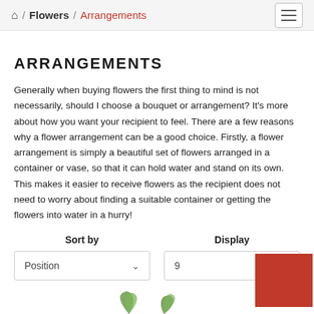Home / Flowers / Arrangements
ARRANGEMENTS
Generally when buying flowers the first thing to mind is not necessarily, should I choose a bouquet or arrangement? It's more about how you want your recipient to feel. There are a few reasons why a flower arrangement can be a good choice. Firstly, a flower arrangement is simply a beautiful set of flowers arranged in a container or vase, so that it can hold water and stand on its own. This makes it easier to receive flowers as the recipient does not need to worry about finding a suitable container or getting the flowers into water in a hurry!
Sort by
Position
Display
9